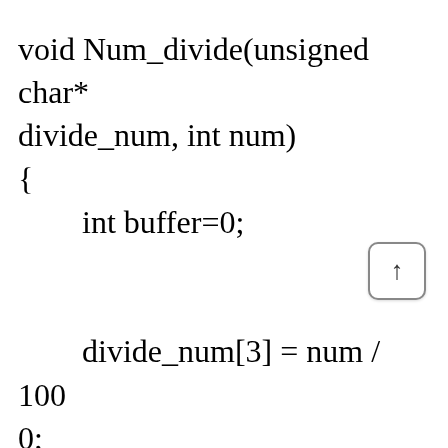void Num_divide(unsigned char* divide_num, int num)
{
        int buffer=0;


        divide_num[3] = num / 100;
0;
        buffer = num % 1000;
        divide_num[2] = buffer / 10